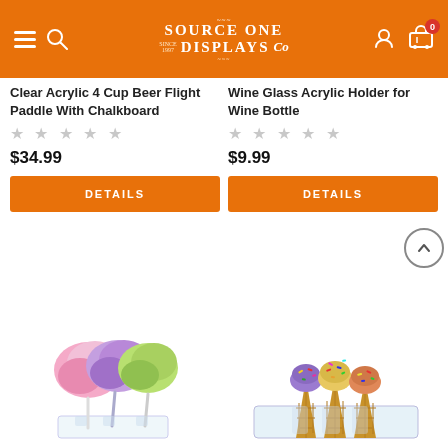Source One Displays Co — Navigation header with hamburger menu, search, logo, account, and cart (0)
Clear Acrylic 4 Cup Beer Flight Paddle With Chalkboard
★★★★★ (no rating)
$34.99
DETAILS
Wine Glass Acrylic Holder for Wine Bottle
★★★★★ (no rating)
$9.99
DETAILS
[Figure (photo): Cotton candy on sticks displayed in a clear acrylic holder — pink, purple, and green colors]
[Figure (photo): Three ice cream cones with toppings displayed in a clear acrylic holder]